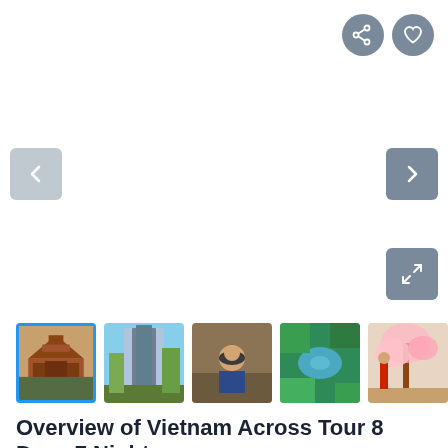[Figure (screenshot): Travel tour listing page screenshot showing navigation buttons (share, favorite, left/right arrows, expand) and a thumbnail image strip of Vietnam tour photos]
Overview of Vietnam Across Tour 8 Days 7 Nights